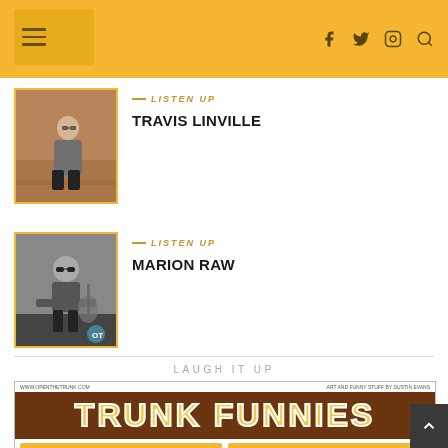Navigation header with hamburger menu, logo area, and social icons (Facebook, Twitter, Instagram, Search)
[Figure (photo): Photo of Travis Linville sitting on stairs, wearing glasses and a grey shirt]
LISTEN UP
TRAVIS LINVILLE
[Figure (photo): Black and white photo of Marion Raw sitting with guitar, wearing sunglasses]
LISTEN UP
MARION RAW
LAUGH IT UP
[Figure (illustration): Trunk Funnies banner with brown background and yellow/white block lettering reading TRUNK FUNNIES, with website www.openthetrunk.com and tagline 'Art and Funny Stuff by Dustin Evans', followed by Facebook and Twitter share buttons]